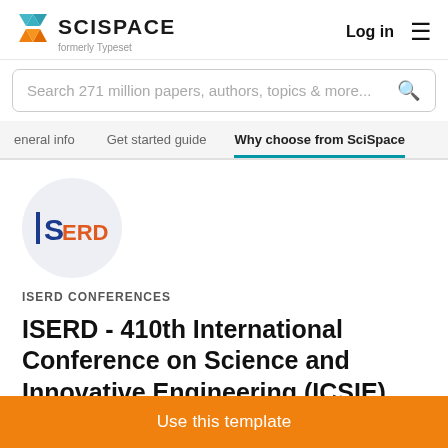SCISPACE formerly Typeset | Log in
Search 271 million papers, authors, topics & more...
eneral info   Get started guide   Why choose from SciSpace
[Figure (logo): ISERD logo in circular background]
ISERD CONFERENCES
ISERD - 410th International Conference on Science and Innovative Engineering (ICSIE)
Use this template